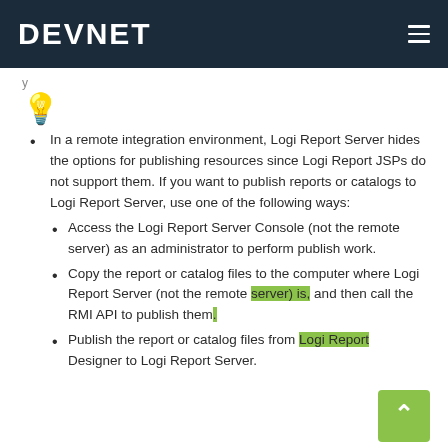DEVNET
In a remote integration environment, Logi Report Server hides the options for publishing resources since Logi Report JSPs do not support them. If you want to publish reports or catalogs to Logi Report Server, use one of the following ways:
Access the Logi Report Server Console (not the remote server) as an administrator to perform publish work.
Copy the report or catalog files to the computer where Logi Report Server (not the remote server) is, and then call the RMI API to publish them.
Publish the report or catalog files from Logi Report Designer to Logi Report Server.